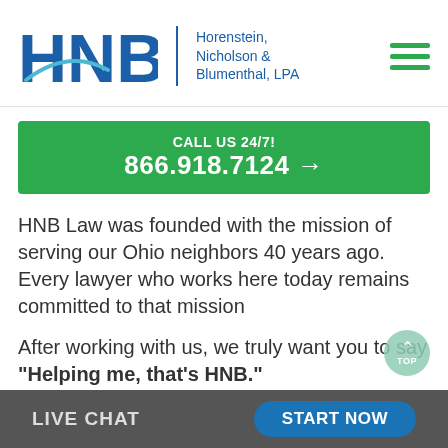[Figure (logo): HNB law firm logo with blue letters HNB and arc swoosh, vertical divider, and text 'Horenstein, Nicholson & Blumenthal, LPA']
CALL US 24/7!
866.918.7124 →
HNB Law was founded with the mission of serving our Ohio neighbors 40 years ago. Every lawyer who works here today remains committed to that mission
After working with us, we truly want you to say "Helping me, that's HNB."
LIVE CHAT   START NOW